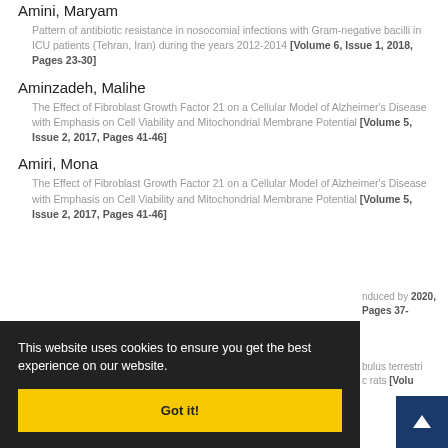Amini, Maryam
Pattern of antibiotic resistance in nosocomial infections with Gram-negative bacilli in ICU patients (Tehran, Iran) during the years 2012-2014 [Volume 6, Issue 1, 2018, Pages 23-30]
Aminzadeh, Malihe
The Effect of Fibroblast Growth Factor 21 on a Cellular Model of Alzheimer's Disease with Emphasis on Cell Viability and Mitochondrial Membrane Potential [Volume 5, Issue 2, 2017, Pages 41-46]
Amiri, Mona
The Effect of Fibroblast Growth Factor 21 on a Cellular Model of Alzheimer's Disease with Emphasis on Cell Viability and Mitochondrial Membrane Potential [Volume 5, Issue 2, 2017, Pages 41-46]
This website uses cookies to ensure you get the best experience on our website.
Got it!
nduced by 2020, Pages 37-
bulus terrestri rats [Volu
Issue 1, 2012, Pages 16-25]